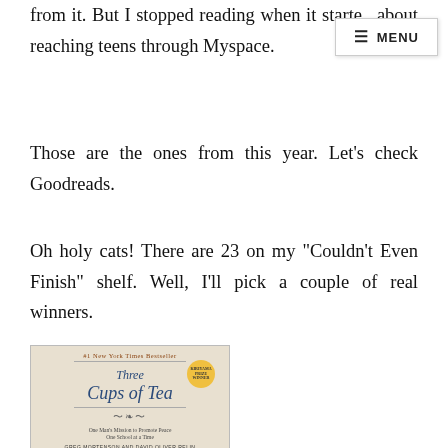from it. But I stopped reading when it started about reaching teens through Myspace.
≡ MENU
Those are the ones from this year. Let's check Goodreads.
Oh holy cats! There are 23 on my "Couldn't Even Finish" shelf. Well, I'll pick a couple of real winners.
[Figure (photo): Book cover of 'Three Cups of Tea' by Greg Mortenson and David Oliver Relin. #1 New York Times Bestseller. One Man's Mission to Promote Peace One School at a Time.]